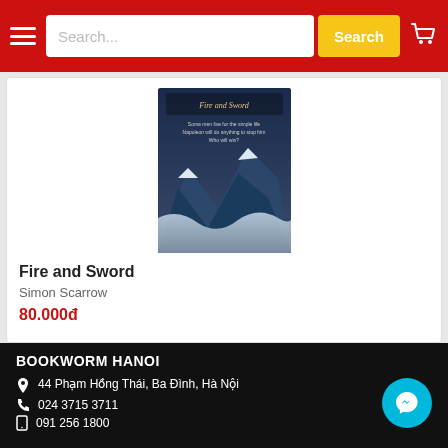Bookworm Hanoi - Search header with hamburger menu, search box, and cart icon
[Figure (photo): Book cover for Fire and Sword by Simon Scarrow - dark fantasy landscape with snow and mountains]
Fire and Sword
Simon Scarrow
80.000đ
BOOKWORM HANOI
44 Phạm Hồng Thái, Ba Đình, Hà Nội
024 3715 3711
091 256 1800